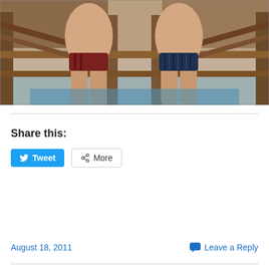[Figure (photo): Two muscular people in swimwear sitting on wooden deck chairs near a pool, vintage photo from approximately 1970s-1980s]
Share this:
Tweet  More
August 18, 2011    Leave a Reply